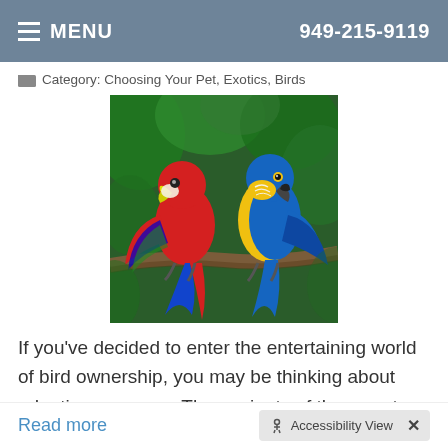MENU   949-215-9119
Category: Choosing Your Pet, Exotics, Birds
[Figure (photo): Two parrots perched on a branch: a red scarlet macaw on the left and a blue-and-yellow macaw on the right, with green foliage in the background.]
If you've decided to enter the entertaining world of bird ownership, you may be thinking about adopting a macaw. These giants of the parrot world make fun companions, but here are some things you should consider before making that purchase. What You Should Know About Macaw Ownership Macaws can make a
Read more
Accessibility View